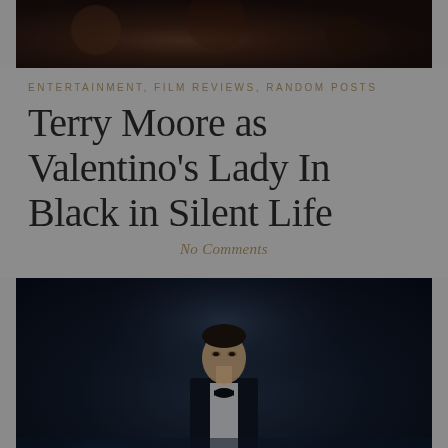[Figure (photo): Dark moody photograph, partially visible at top of page, showing shadowy figures in dim lighting with warm reddish-brown tones]
ENTERTAINMENT, FILM REVIEWS, RANDOM POSTS
Terry Moore as Valentino's Lady In Black in Silent Life
No Comments
[Figure (photo): Dark cinematic photograph of a man in a tuxedo with bow tie, standing in dim blue-tinted atmospheric lighting, looking slightly upward]